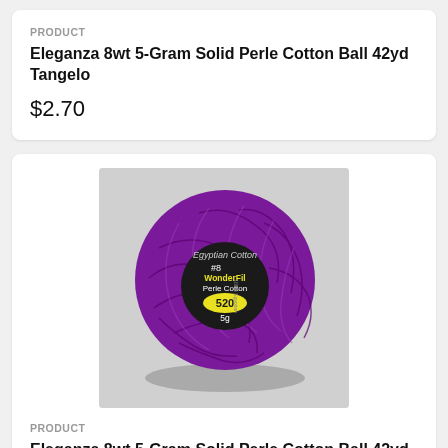PRODUCT
Eleganza 8wt 5-Gram Solid Perle Cotton Ball 42yd Tangelo
$2.70
[Figure (photo): Ball of purple WonderFil Eleganza Perle Cotton thread, labeled #8 WonderFil Perle Cotton, number 520, 5g]
PRODUCT
Eleganza 8wt 5-Gram Solid Perle Cotton Ball 42yd Palatinate Purple